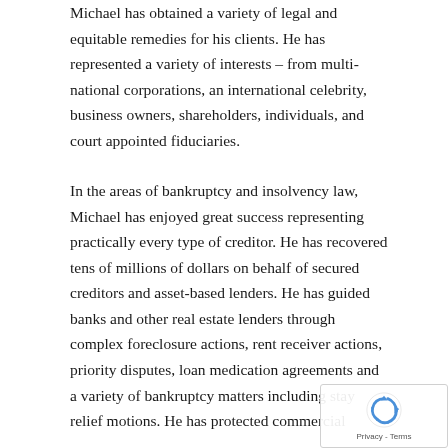Michael has obtained a variety of legal and equitable remedies for his clients. He has represented a variety of interests – from multi-national corporations, an international celebrity, business owners, shareholders, individuals, and court appointed fiduciaries.
In the areas of bankruptcy and insolvency law, Michael has enjoyed great success representing practically every type of creditor. He has recovered tens of millions of dollars on behalf of secured creditors and asset-based lenders. He has guided banks and other real estate lenders through complex foreclosure actions, rent receiver actions, priority disputes, loan medication agreements and a variety of bankruptcy matters including stay relief motions. He has protected commercial
[Figure (other): reCAPTCHA badge with spinning arrows icon and Privacy - Terms text]